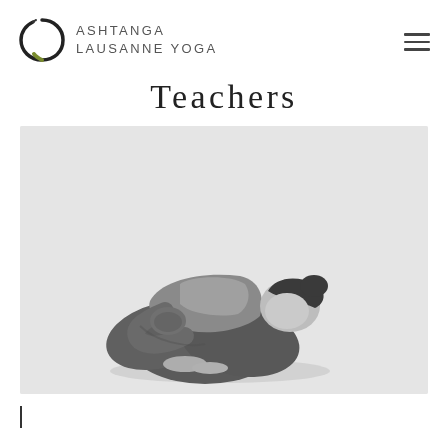ASHTANGA LAUSANNE YOGA
Teachers
[Figure (photo): Black and white photo of a yoga teacher performing an advanced yoga pose — seated forward fold with arms wrapped around legs, head bowed down toward the floor]
|